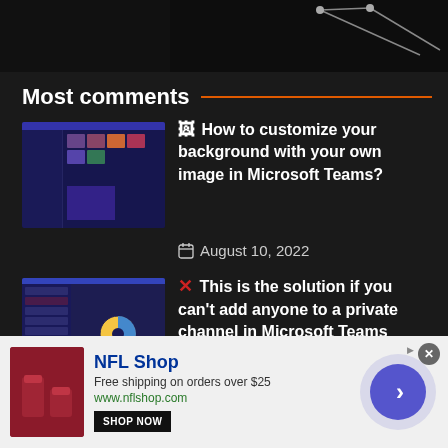[Figure (screenshot): Top partial image on dark background with geometric/network design visible on right side]
Most comments
[Figure (screenshot): Screenshot of Microsoft Teams background customization UI]
🖼 How to customize your background with your own image in Microsoft Teams?
August 10, 2022
[Figure (screenshot): Screenshot of Microsoft Teams private channel settings]
✕ This is the solution if you can't add anyone to a private channel in Microsoft Teams
23 May 2020
[Figure (screenshot): Partial screenshot of another article thumbnail]
All you need to know about
[Figure (other): NFL Shop advertisement banner with product image, brand name, free shipping offer, shop now button, and forward arrow]